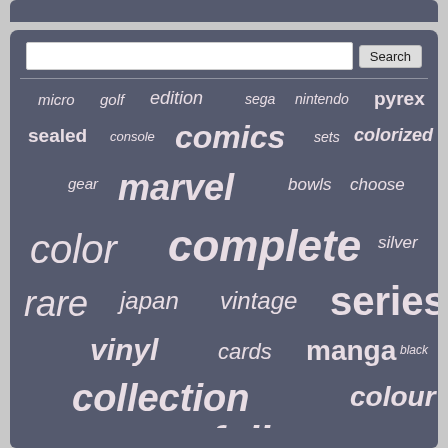[Figure (screenshot): Tag cloud on dark blue-gray background with search bar, showing various collectible-related keywords in different sizes and weights]
micro golf edition sega nintendo pyrex sealed console comics sets colorized gear marvel bowls choose color complete silver rare japan vintage series vinyl cards manga black collection colour colored full game comic colors carpet limited